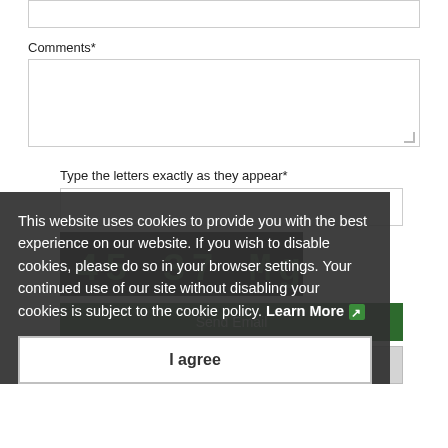Comments*
Type the letters exactly as they appear*
Send Email
Reset
This website uses cookies to provide you with the best experience on our website. If you wish to disable cookies, please do so in your browser settings. Your continued use of our site without disabling your cookies is subject to the cookie policy. Learn More
I agree